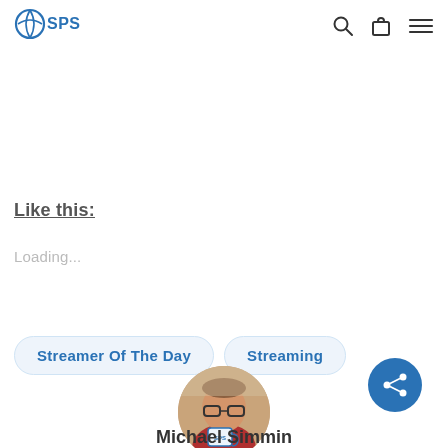Share this
SPS logo with search, cart, and menu icons
Like this:
Loading...
Streamer Of The Day
Streaming
[Figure (photo): Circular profile photo of a person holding a cup, wearing glasses, indoors]
[Figure (other): Blue circular share/social button with share icon]
Michael Simmin